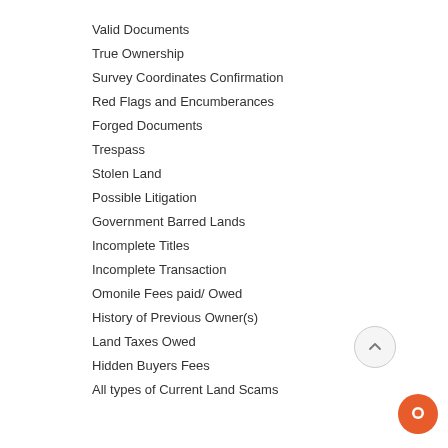Valid Documents
True Ownership
Survey Coordinates Confirmation
Red Flags and Encumberances
Forged Documents
Trespass
Stolen Land
Possible Litigation
Government Barred Lands
Incomplete Titles
Incomplete Transaction
Omonile Fees paid/ Owed
History of Previous Owner(s)
Land Taxes Owed
Hidden Buyers Fees
All types of Current Land Scams